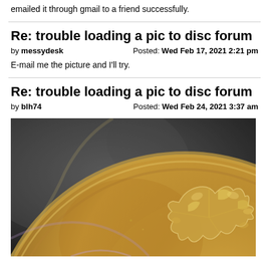emailed it through gmail to a friend successfully.
Re: trouble loading a pic to disc forum
by messydesk   Posted: Wed Feb 17, 2021 2:21 pm
E-mail me the picture and I'll try.
Re: trouble loading a pic to disc forum
by blh74   Posted: Wed Feb 24, 2021 3:37 am
[Figure (photo): Close-up macro photograph of a coin showing the rim and relief details. The coin surface appears to be a bronze/gold colored cent, with raised design elements visible on the right side. The background behind the coin is dark gray textured.]